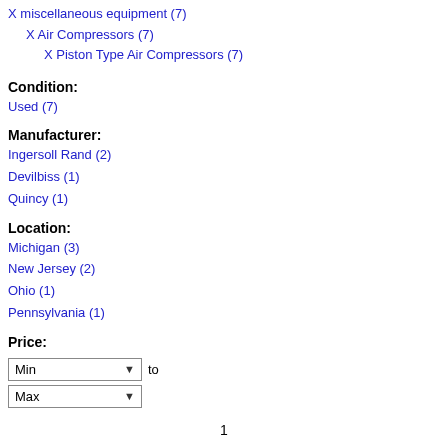X miscellaneous equipment (7)
X Air Compressors (7)
X Piston Type Air Compressors (7)
Condition:
Used (7)
Manufacturer:
Ingersoll Rand (2)
Devilbiss (1)
Quincy (1)
Location:
Michigan (3)
New Jersey (2)
Ohio (1)
Pennsylvania (1)
Price:
Min to Max (dropdowns)
1